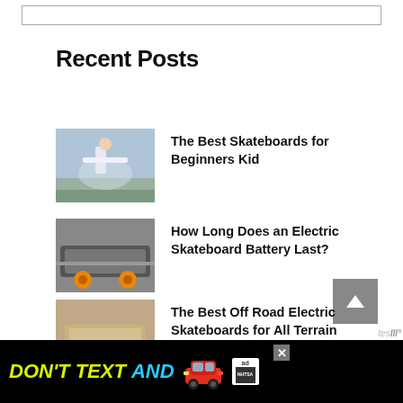Recent Posts
The Best Skateboards for Beginners Kid
How Long Does an Electric Skateboard Battery Last?
The Best Off Road Electric Skateboards for All Terrain
[Figure (photo): Advertisement banner: DON'T TEXT AND [car icon] with NHTSA ad badge and close button]